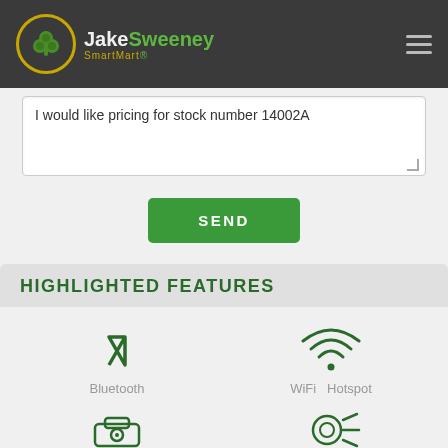[Figure (logo): JakeSweeney SmartMart logo with shamrock icon in gold circle on dark header bar]
I would like pricing for stock number 14002A
SEND
HIGHLIGHTED FEATURES
Bluetooth
WiFi  Hotspot